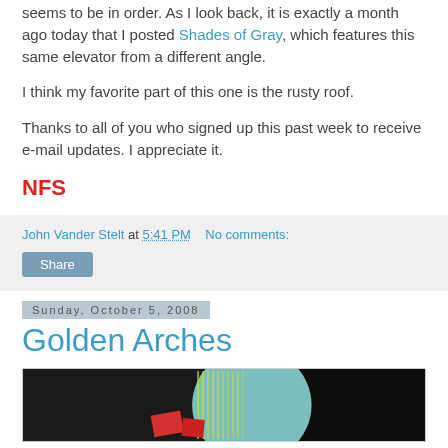seems to be in order. As I look back, it is exactly a month ago today that I posted Shades of Gray, which features this same elevator from a different angle.
I think my favorite part of this one is the rusty roof.
Thanks to all of you who signed up this past week to receive e-mail updates. I appreciate it.
NFS
John Vander Stelt at 5:41 PM   No comments:
Share
Sunday, October 5, 2008
Golden Arches
[Figure (photo): Photograph showing abstract shapes with arches against a dark background]